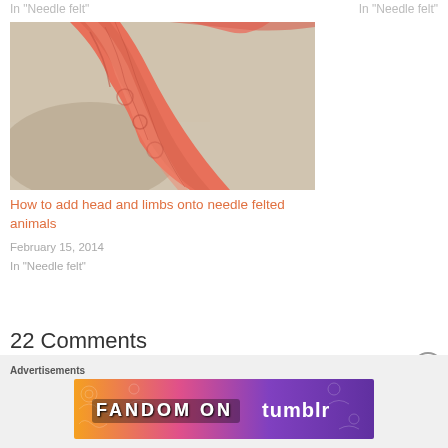In "Needle felt"
In "Needle felt"
[Figure (photo): Close-up photo of orange/coral needle felted wool fibers being attached, on a light grey background]
How to add head and limbs onto needle felted animals
February 15, 2014
In "Needle felt"
22 Comments
Advertisements
[Figure (illustration): FANDOM ON tumblr advertisement banner with orange, pink, and purple gradient background]